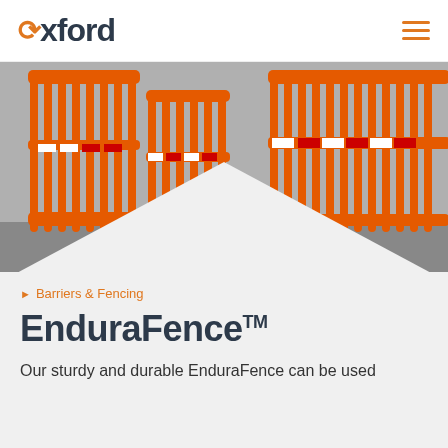Oxford
[Figure (photo): Orange plastic construction barriers / EnduraFence panels stacked and arranged at a roadwork site, viewed from ground level]
Barriers & Fencing
EnduraFence™
Our sturdy and durable EnduraFence can be used in construction and many other settings...